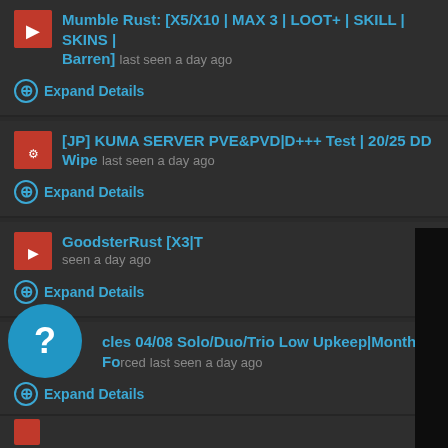Mumble Rust: [X5/X10 | MAX 3 | LOOT+ | SKILL | SKINS | Barren] last seen a day ago
Expand Details
[JP] KUMA SERVER PVE&PVD|D+++ Test | 20/25 DD Wipe last seen a day ago
Expand Details
GoodsterRust [X3|... seen a day ago
Expand Details
[Figure (screenshot): Video player overlay with pause icon graphic (bar chart style bars with play arrow), mute icon, and close X button on dark background]
cles 04/08 Solo/Duo/Trio Low Upkeep|Monthly Forced last seen a day ago
Expand Details